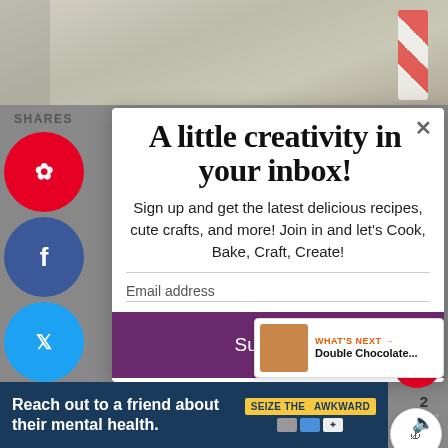[Figure (photo): Background photo of flour in a bowl with red striped fabric]
SHARES
[Figure (infographic): Social sharing sidebar with Pinterest, Facebook, Twitter, Yummly, LinkedIn, Mix, WhatsApp buttons]
A little creativity in your inbox!
Sign up and get the latest delicious recipes, cute crafts, and more! Join in and let's Cook, Bake, Craft, Create!
Email address
Subscribe
2
WHAT'S NEXT → Double Chocolate...
Reach out to a friend about their mental health. SEIZE THE AWKWARD